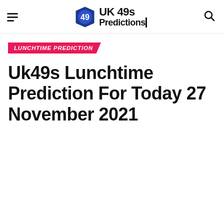UK 49s Predictions
LUNCHTIME PREDICTION
Uk49s Lunchtime Prediction For Today 27 November 2021